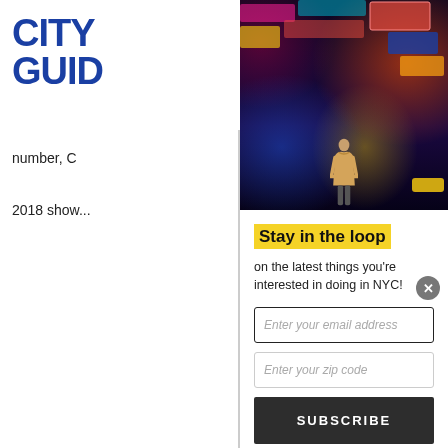[Figure (logo): City Guide logo in blue bold text]
[Figure (photo): Times Square NYC street scene with neon lights and person in beige hoodie]
number, C... 2018 show...
The penult... recreation... Christmas... angels sit i...
Stay in the loop
on the latest things you're interested in doing in NYC!
Enter your email address
Enter your zip code
SUBSCRIBE